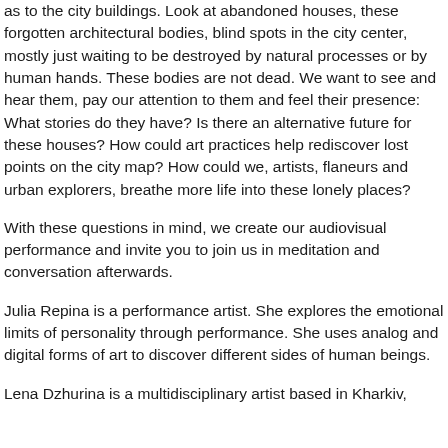as to the city buildings. Look at abandoned houses, these forgotten architectural bodies, blind spots in the city center, mostly just waiting to be destroyed by natural processes or by human hands. These bodies are not dead. We want to see and hear them, pay our attention to them and feel their presence: What stories do they have? Is there an alternative future for these houses? How could art practices help rediscover lost points on the city map? How could we, artists, flaneurs and urban explorers, breathe more life into these lonely places?
With these questions in mind, we create our audiovisual performance and invite you to join us in meditation and conversation afterwards.
Julia Repina is a performance artist. She explores the emotional limits of personality through performance. She uses analog and digital forms of art to discover different sides of human beings.
Lena Dzhurina is a multidisciplinary artist based in Kharkiv,